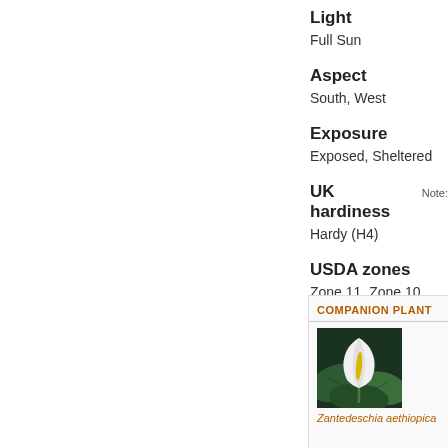Light
Full Sun
Aspect
South, West
Exposure
Exposed, Sheltered
UK hardiness
Note:
Hardy (H4)
USDA zones
Zone 11, Zone 10, Zone 9
COMPANION PLANT
[Figure (photo): White calla lily flower with green leaves - Zantedeschia aethiopica companion plant]
Zantedeschia aethiopica